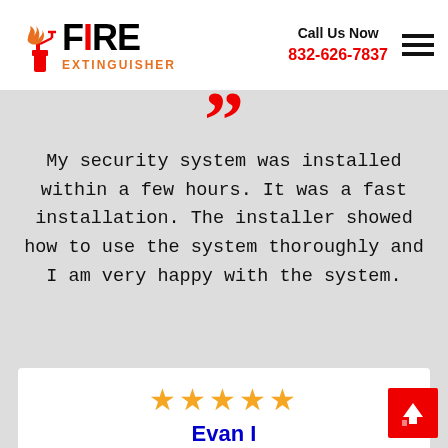[Figure (logo): Fire Extinguisher company logo with red fire icon, bold text FIRE in black with red I, and EXTINGUISHER in orange below]
Call Us Now
832-626-7837
“”
My security system was installed within a few hours. It was a fast installation. The installer showed how to use the system thoroughly and I am very happy with the system.
★★★★★
Evan I
[Figure (other): Red quotation marks with decorative red horizontal lines and dots, beginning of next review card]